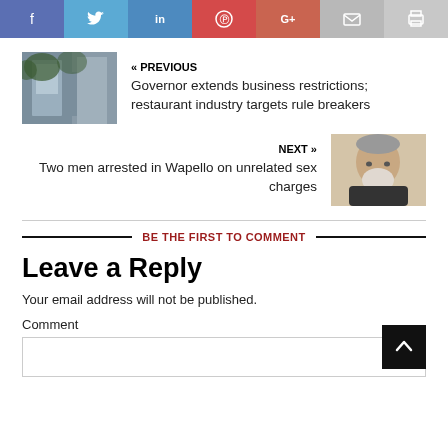[Figure (other): Social sharing bar with icons: Facebook (f), Twitter (bird), LinkedIn (in), Pinterest (circle P), Google+ (G+), Email (envelope), Print (printer)]
[Figure (photo): Thumbnail photo of a multi-story brick building with trees, associated with the PREVIOUS article]
« PREVIOUS
Governor extends business restrictions; restaurant industry targets rule breakers
[Figure (photo): Thumbnail photo of a bearded older man in dark shirt, associated with the NEXT article]
NEXT »
Two men arrested in Wapello on unrelated sex charges
BE THE FIRST TO COMMENT
Leave a Reply
Your email address will not be published.
Comment